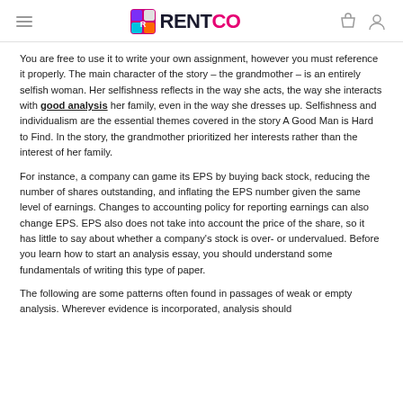RENTCO
You are free to use it to write your own assignment, however you must reference it properly. The main character of the story – the grandmother – is an entirely selfish woman. Her selfishness reflects in the way she acts, the way she interacts with good analysis her family, even in the way she dresses up. Selfishness and individualism are the essential themes covered in the story A Good Man is Hard to Find. In the story, the grandmother prioritized her interests rather than the interest of her family.
For instance, a company can game its EPS by buying back stock, reducing the number of shares outstanding, and inflating the EPS number given the same level of earnings. Changes to accounting policy for reporting earnings can also change EPS. EPS also does not take into account the price of the share, so it has little to say about whether a company's stock is over- or undervalued. Before you learn how to start an analysis essay, you should understand some fundamentals of writing this type of paper.
The following are some patterns often found in passages of weak or empty analysis. Wherever evidence is incorporated, analysis should